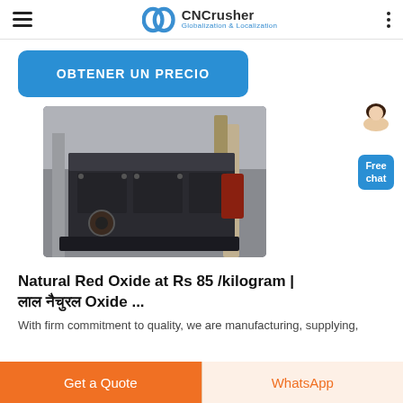CNCrusher — Globalization & Localization
OBTENER UN PRECIO
[Figure (photo): Large industrial impact crusher machine photographed in a factory/warehouse setting. The machine is dark grey/black metal, heavy-duty construction with bolted panels and mechanical components.]
[Figure (photo): Customer service representative (woman in white jacket) with Free chat button overlay]
Natural Red Oxide at Rs 85 /kilogram | लाल नैचुरल Oxide ...
With firm commitment to quality, we are manufacturing, supplying,
Get a Quote
WhatsApp